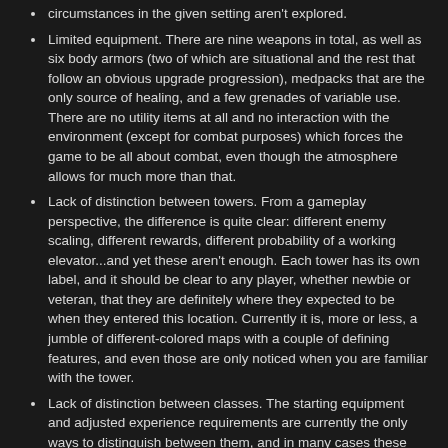circumstances in the given setting aren't explored.
Limited equipment. There are nine weapons in total, as well as six body armors (two of which are situational and the rest that follow an obvious upgrade progression), medpacks that are the only source of healing, and a few grenades of variable use. There are no utility items at all and no interaction with the environment (except for combat purposes) which forces the game to be all about combat, even though the atmosphere allows for much more than that.
Lack of distinction between towers. From a gameplay perspective, the difference is quite clear: different enemy scaling, different rewards, different probability of a working elevator...and yet these aren't enough. Each tower has its own label, and it should be clear to any player, whether newbie or veteran, that they are definitely where they expected to be when they entered this location. Currently it is, more or less, a jumble of different-colored maps with a couple of defining features, and even those are only noticed when you are familiar with the tower.
Lack of distinction between classes. The starting equipment and adjusted experience requirements are currently the only ways to distinguish between them, and in many cases these differences alter the game only marginally in the long run. In addition, some classes have clear advantages over others, although this stems from other problems.
Predictable enemy movement. In a game where there tends to be plenty of open space, the fact that aliens ALWAYS charge at you makes the game's tactical mechanics quite limited. I have seen some cases where they don't (excluding the worker family of aliens) although it would seem to be either far too rare or